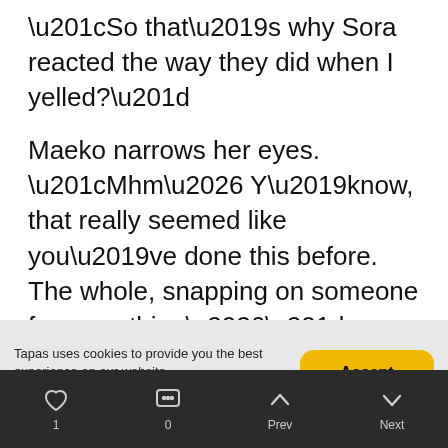“So that’s why Sora reacted the way they did when I yelled?”
Maeko narrows her eyes. “Mhm… Y’know, that really seemed like you’ve done this before. The whole, snapping on someone for something…”
Shoot. She’s onto me. I feel myself wince at the claim. For some reason, my lip quivers.
“Mhm… yeah. I have.”
Tapas uses cookies to provide you the best experience on our website. More info | Customize
1  0  Prev  Next